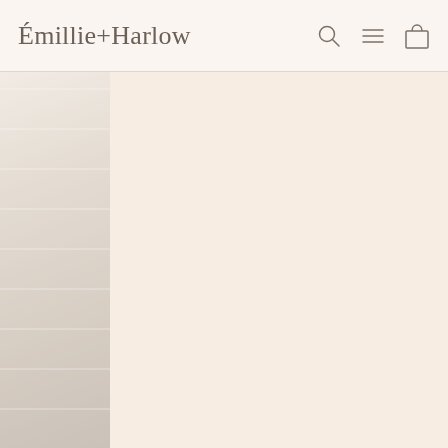Émillie+Harlow
[Figure (photo): Partial view of a lifestyle/product photo on the left edge of the page, soft warm tones, appears to show fabric or interior items, mostly cropped out of frame]